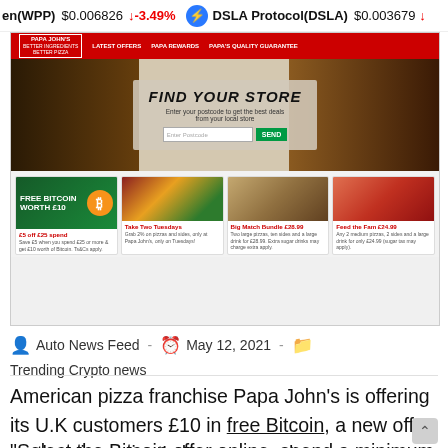en(WPP) $0.006826 ↓ -3.49% | DSLA Protocol(DSLA) $0.003679 ↓
[Figure (screenshot): Papa John's UK website homepage screenshot showing 'Find Your Store' hero banner with pizza images, and four deal cards: Free Bitcoin Worth £10, Take Two Tuesdays, Big Match Bundle £28.99, Feed the Fam £24.99]
Auto News Feed · May 12, 2021 · Trending Crypto news
American pizza franchise Papa John's is offering its U.K customers £10 in free Bitcoin, a new offer on the pizza giant's homepage shows.
"Select the Bitcoin offer online, spend a minimum of